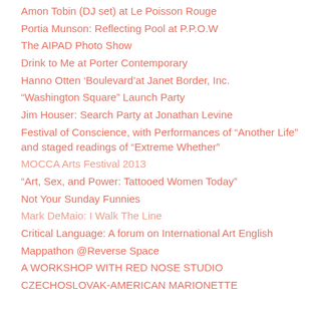Amon Tobin (DJ set) at Le Poisson Rouge
Portia Munson: Reflecting Pool at P.P.O.W
The AIPAD Photo Show
Drink to Me at Porter Contemporary
Hanno Otten ‘Boulevard’at Janet Border, Inc.
“Washington Square” Launch Party
Jim Houser: Search Party at Jonathan Levine
Festival of Conscience, with Performances of “Another Life” and staged readings of “Extreme Whether”
MOCCA Arts Festival 2013
“Art, Sex, and Power: Tattooed Women Today”
Not Your Sunday Funnies
Mark DeMaio: I Walk The Line
Critical Language: A forum on International Art English
Mappathon @Reverse Space
A WORKSHOP WITH RED NOSE STUDIO
CZECHOSLOVAK-AMERICAN MARIONETTE